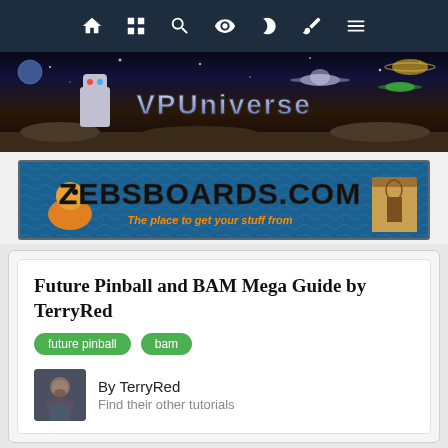Navigation bar with home, grid, search, eye, moon, brush, menu icons
[Figure (illustration): VPUniverse website banner with space/sci-fi theme showing robots, spaceships, planets and the VPUniverse logo text]
[Figure (illustration): ZebsBoards.com advertisement banner with cartoon characters and the text 'The place to get your stuff from']
Future Pinball and BAM Mega Guide by TerryRed
future pinball
bam
By TerryRed
Find their other tutorials